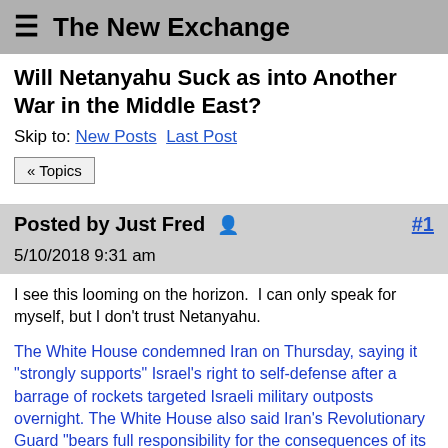The New Exchange
Will Netanyahu Suck as into Another War in the Middle East?
Skip to: New Posts  Last Post
« Topics
Posted by Just Fred  #1
5/10/2018 9:31 am
I see this looming on the horizon.  I can only speak for myself, but I don't trust Netanyahu.
The White House condemned Iran on Thursday, saying it "strongly supports" Israel's right to self-defense after a barrage of rockets targeted Israeli military outposts overnight. The White House also said Iran's Revolutionary Guard "bears full responsibility for the consequences of its reckless actions."
"The Iranian regime's deployment into Syria of offensive rocket and missile systems aimed at Israel is an unacceptable and highly dangerous development for the entire Middle East," the White House said.
The U.S. also urged "all nations to make clear that the Iranian regime's